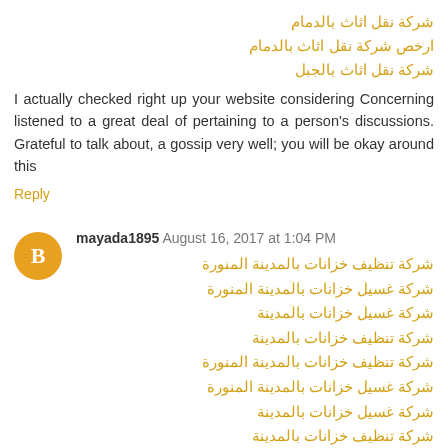شركة نقل اثاث بالدمام
ارخص شركة نقل اثاث بالدمام
شركة نقل اثاث بالجبل
I actually checked right up your website considering Concerning listened to a great deal of pertaining to a person's discussions. Grateful to talk about, a gossip very well; you will be okay around this
Reply
mayada1895  August 16, 2017 at 1:04 PM
شركة تنظيف خزانات بالمدينة المنورة
شركة غسيل خزانات بالمدينة المنورة
شركة غسيل خزانات بالمدينة
شركة تنظيف خزانات بالمدينة
شركة تنظيف خزانات بالمدينة المنورة
شركة غسيل خزانات بالمدينة المنورة
شركة غسيل خزانات بالمدينة
شركة تنظيف خزانات بالمدينة
Reply